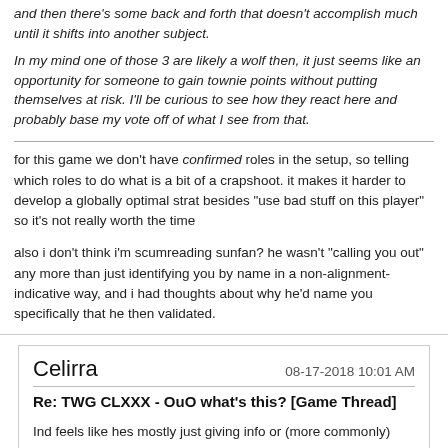and then there's some back and forth that doesn't accomplish much until it shifts into another subject.
In my mind one of those 3 are likely a wolf then, it just seems like an opportunity for someone to gain townie points without putting themselves at risk. I'll be curious to see how they react here and probably base my vote off of what I see from that.
for this game we don't have confirmed roles in the setup, so telling which roles to do what is a bit of a crapshoot. it makes it harder to develop a globally optimal strat besides "use bad stuff on this player" so it's not really worth the time
also i don't think i'm scumreading sunfan? he wasn't "calling you out" any more than just identifying you by name in a non-alignment-indicative way, and i had thoughts about why he'd name you specifically that he then validated.
Celirra
08-17-2018 10:01 AM
Re: TWG CLXXX - OuO what's this? [Game Thread]
Ind feels like hes mostly just giving info or (more commonly) lightly shading thoughts or opinions